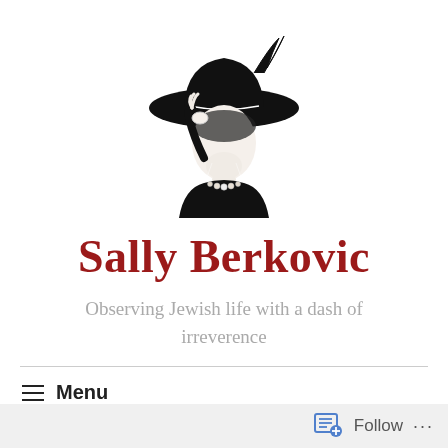[Figure (logo): Black and white illustration of an elegant woman wearing a large wide-brimmed hat, holding something to her face, with red lips visible. She wears a pearl necklace and dark outfit.]
Sally Berkovic
Observing Jewish life with a dash of irreverence
Menu
T...
Follow ...